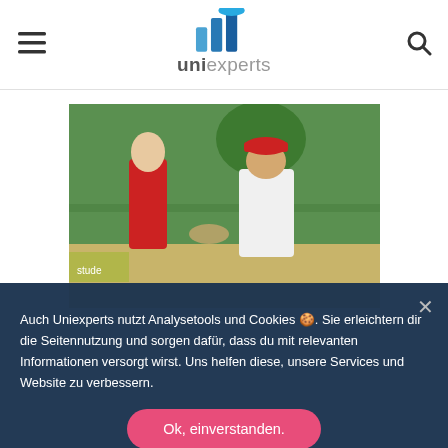uniexperts — hamburger menu and search icon
[Figure (photo): Two young men outdoors shaking hands, one in a red shirt and one in a white polo shirt with a red cap, at what appears to be a sports venue with green background]
Auch Uniexperts nutzt Analysetools und Cookies 🍪. Sie erleichtern dir die Seitennutzung und sorgen dafür, dass du mit relevanten Informationen versorgt wirst. Uns helfen diese, unsere Services und Website zu verbessern.
Ok, einverstanden.